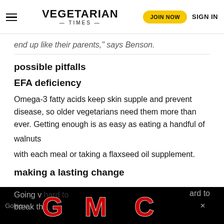VEGETARIAN TIMES | JOIN NOW | SIGN IN
end up like their parents," says Benson.
possible pitfalls
EFA deficiency
Omega-3 fatty acids keep skin supple and prevent disease, so older vegetarians need them more than ever. Getting enough is as easy as eating a handful of
walnuts
with each meal or taking a flaxseed oil supplement.
making a lasting change
[Figure (photo): GMC advertisement banner — black background with large red GMC logo letters]
Going v… ard to
break th…